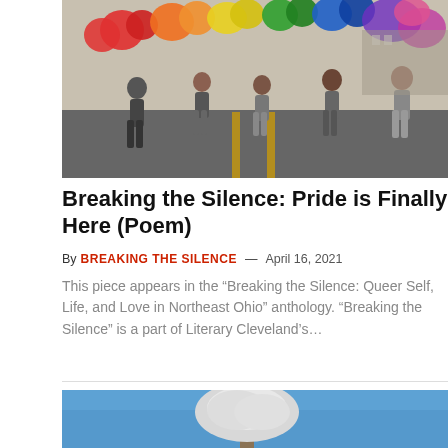[Figure (photo): Pride parade with people walking on a street carrying colorful rainbow balloons and decorations overhead]
Breaking the Silence: Pride is Finally Here (Poem)
By BREAKING THE SILENCE — April 16, 2021
This piece appears in the “Breaking the Silence: Queer Self, Life, and Love in Northeast Ohio” anthology. “Breaking the Silence” is a part of Literary Cleveland’s…
[Figure (photo): A snow-covered tree against a bright blue sky]